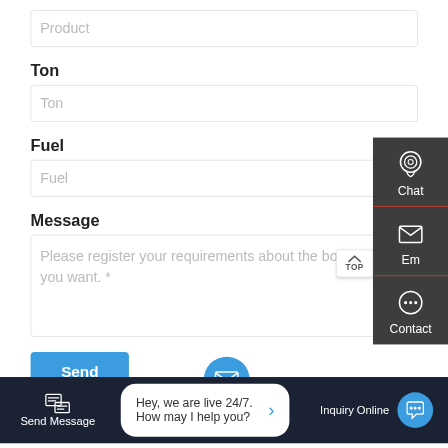[Figure (screenshot): Web form UI screenshot showing Product input field (partially visible at top), Ton label with Ton input field, Fuel label with Fuel input field, Message label with textarea placeholder 'Please register your requirements about the boiler you want. *', a Send button, a right-side panel with Chat, Email, and Contact icons on dark background, a TOP button, and a bottom navigation bar with Send Message, live chat bubble 'Hey, we are live 24/7. How may I help you?', and Inquiry Online button with blue chat icon.]